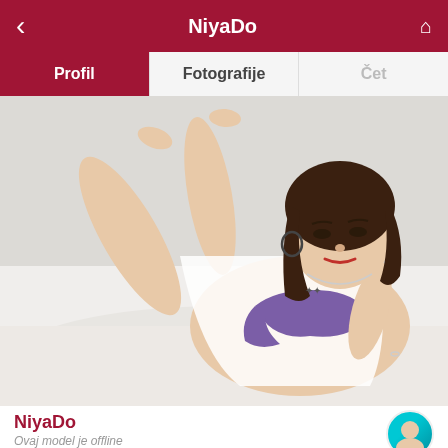NiyaDo
Profil | Fotografije | Čet
[Figure (photo): Young Asian woman lying on a white bed, wearing purple lingerie and an open white shirt, legs raised, looking at camera. Bedroom setting.]
NiyaDo
Ovaj model je offline